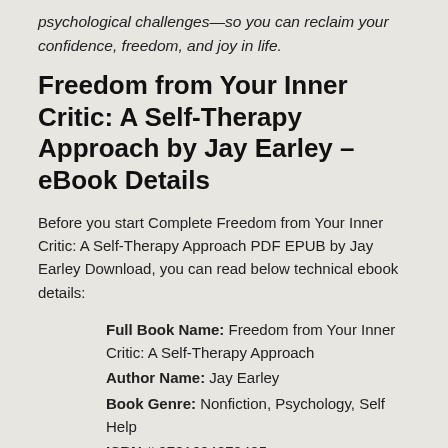psychological challenges—so you can reclaim your confidence, freedom, and joy in life.
Freedom from Your Inner Critic: A Self-Therapy Approach by Jay Earley – eBook Details
Before you start Complete Freedom from Your Inner Critic: A Self-Therapy Approach PDF EPUB by Jay Earley Download, you can read below technical ebook details:
Full Book Name: Freedom from Your Inner Critic: A Self-Therapy Approach
Author Name: Jay Earley
Book Genre: Nonfiction, Psychology, Self Help
ISBN # 9781604079425